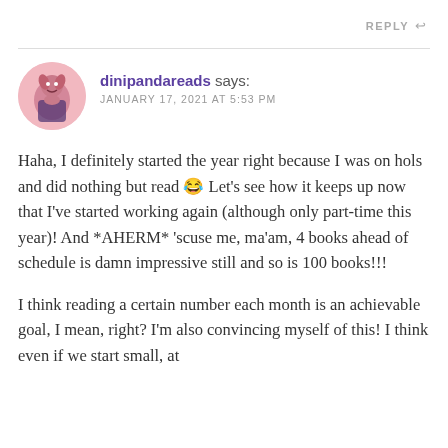REPLY ↩
[Figure (photo): Circular avatar photo of dinipandareads user]
dinipandareads says: JANUARY 17, 2021 AT 5:53 PM
Haha, I definitely started the year right because I was on hols and did nothing but read 😂 Let's see how it keeps up now that I've started working again (although only part-time this year)! And *AHERM* 'scuse me, ma'am, 4 books ahead of schedule is damn impressive still and so is 100 books!!!
I think reading a certain number each month is an achievable goal, I mean, right? I'm also convincing myself of this! I think even if we start small, at